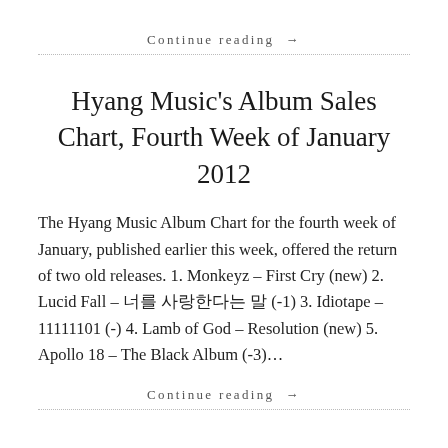Continue reading →
Hyang Music's Album Sales Chart, Fourth Week of January 2012
The Hyang Music Album Chart for the fourth week of January, published earlier this week, offered the return of two old releases. 1. Monkeyz – First Cry (new) 2. Lucid Fall – 너를 사랑한다는 말 (-1) 3. Idiotape – 11111101 (-) 4. Lamb of God – Resolution (new) 5. Apollo 18 – The Black Album (-3)…
Continue reading →